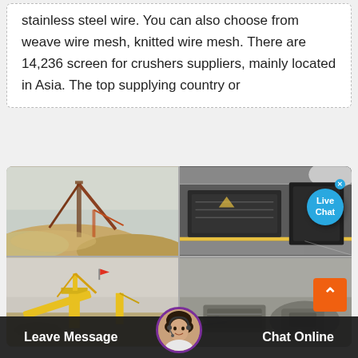stainless steel wire. You can also choose from weave wire mesh, knitted wire mesh. There are 14,236 screen for crushers suppliers, mainly located in Asia. The top supplying country or
[Figure (photo): Four-panel grid of industrial mining/crushing equipment photos: top-left shows an outdoor mining excavator/conveyor over a sand/gravel pile; top-right shows large industrial screening/crushing machines in a factory building; bottom-left shows yellow cranes and conveyor equipment at a quarry site; bottom-right shows a gray aerial view of crusher/screening equipment at a site.]
[Figure (other): Live Chat bubble overlay (blue circle) with 'Live Chat' text and close X button in the top-right of the image grid.]
[Figure (other): Orange scroll-to-top button with chevron/arrow icon, bottom-right corner.]
[Figure (other): Chat agent avatar (circular photo of woman with headset) centered in bottom bar.]
Leave Message
Chat Online